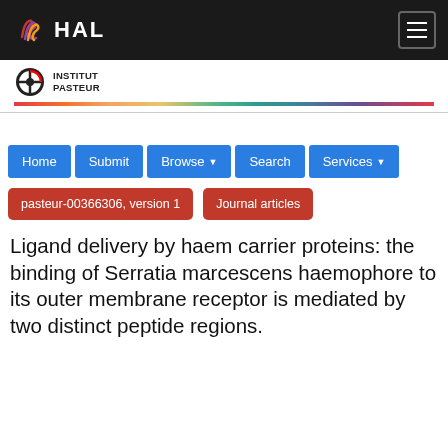HAL
[Figure (logo): Institut Pasteur logo with colorful banner]
Home | Submit | Browse | Search | Services
pasteur-00366306, version 1 | Journal articles
Ligand delivery by haem carrier proteins: the binding of Serratia marcescens haemophore to its outer membrane receptor is mediated by two distinct peptide regions.